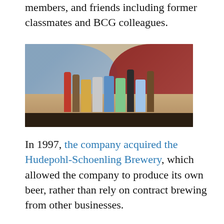members, and friends including former classmates and BCG colleagues.
[Figure (photo): Two men leaning over a table displaying multiple beer bottles and cans of various brands.]
In 1997, the company acquired the Hudepohl-Schoenling Brewery, which allowed the company to produce its own beer, rather than rely on contract brewing from other businesses.